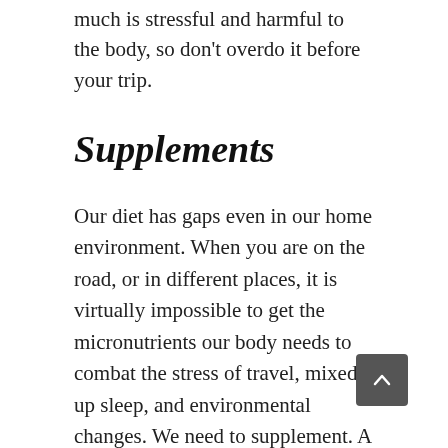much is stressful and harmful to the body, so don't overdo it before your trip.
Supplements
Our diet has gaps even in our home environment. When you are on the road, or in different places, it is virtually impossible to get the micronutrients our body needs to combat the stress of travel, mixed up sleep, and environmental changes. We need to supplement. A good quality multi-vitamin is vital while on the go.
I use the highest rated multivitamin available (as rated in this book of over 1,600 different